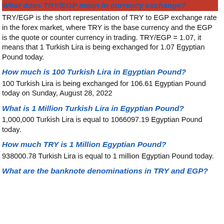What does TRY/EGP mean in currency exchange?
TRY/EGP is the short representation of TRY to EGP exchange rate in the forex market, where TRY is the base currency and the EGP is the quote or counter currency in trading. TRY/EGP = 1.07, it means that 1 Turkish Lira is being exchanged for 1.07 Egyptian Pound today.
How much is 100 Turkish Lira in Egyptian Pound?
100 Turkish Lira is being exchanged for 106.61 Egyptian Pound today on Sunday, August 28, 2022
What is 1 Million Turkish Lira in Egyptian Pound?
1,000,000 Turkish Lira is equal to 1066097.19 Egyptian Pound today.
How much TRY is 1 Million Egyptian Pound?
938000.78 Turkish Lira is equal to 1 million Egyptian Pound today.
What are the banknote denominations in TRY and EGP?